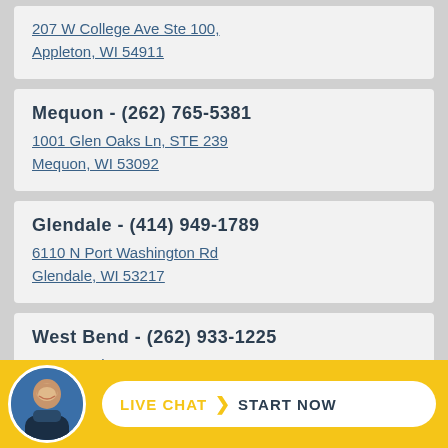207 W College Ave Ste 100, Appleton, WI 54911
Mequon - (262) 765-5381
1001 Glen Oaks Ln, STE 239
Mequon, WI 53092
Glendale - (414) 949-1789
6110 N Port Washington Rd
Glendale, WI 53217
West Bend - (262) 933-1225
215 N. Main Street, STE 101
West Bend, WI 53095
Racine - (262) 633-8241
LIVE CHAT > START NOW